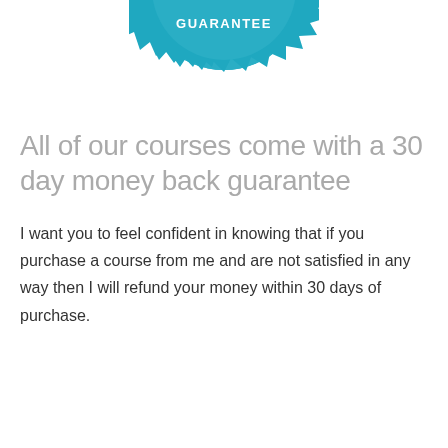[Figure (illustration): A teal/blue starburst badge with '100%' in large text and 'GUARANTEE' text below it, partially cropped at the top of the page.]
All of our courses come with a 30 day money back guarantee
I want you to feel confident in knowing that if you purchase a course from me and are not satisfied in any way then I will refund your money within 30 days of purchase.